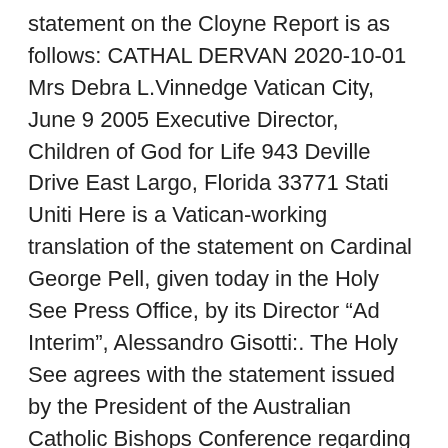statement on the Cloyne Report is as follows: CATHAL DERVAN 2020-10-01 Mrs Debra L.Vinnedge Vatican City, June 9 2005 Executive Director, Children of God for Life 943 Deville Drive East Largo, Florida 33771 Stati Uniti Here is a Vatican-working translation of the statement on Cardinal George Pell, given today in the Holy See Press Office, by its Director “Ad Interim”, Alessandro Gisotti:. The Holy See agrees with the statement issued by the President of the Australian Catholic Bishops Conference regarding the sentence of guilt in the first instance concerning Cardinal George Pell. The following is the translated full text of a statement on the health of Pope John Paul II, released by the Vatican this morning… Full text of Vatican statement on pope’s speech.